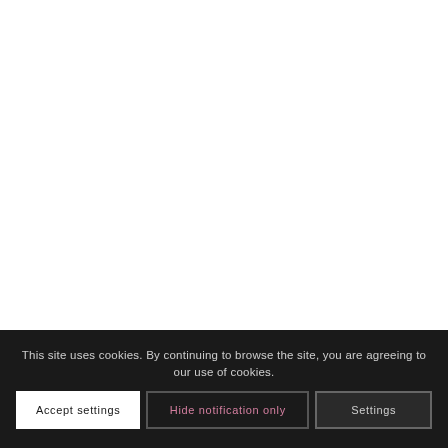This site uses cookies. By continuing to browse the site, you are agreeing to our use of cookies.
Accept settings
Hide notification only
Settings